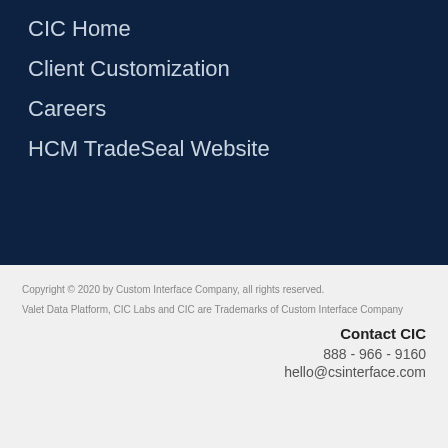CIC Home
Client Customization
Careers
HCM TradeSeal Website
Copyright © 2020 by Custom Interface Company, all rights reserved.
Valet Data Platform, CIC Labs and CIC are Trademarks of Custom Interface Company
Contact CIC
888 - 966 - 9160
hello@csinterface.com